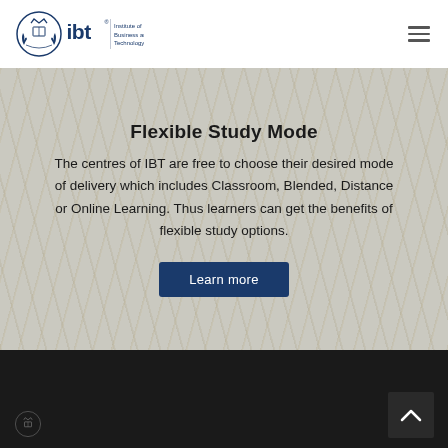[Figure (logo): IBT Institute of Business and Technology logo — circular emblem with crown and laurel wreath in dark navy blue, beside bold 'ibt' text and 'Institute of Business and Technology' tagline]
Flexible Study Mode
The centres of IBT are free to choose their desired mode of delivery which includes Classroom, Blended, Distance or Online Learning. Thus learners can get the benefits of flexible study options.
Learn more